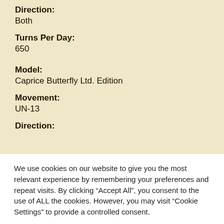Direction:
Both
Turns Per Day:
650
Model:
Caprice Butterfly Ltd. Edition
Movement:
UN-13
Direction:
We use cookies on our website to give you the most relevant experience by remembering your preferences and repeat visits. By clicking “Accept All”, you consent to the use of ALL the cookies. However, you may visit “Cookie Settings” to provide a controlled consent.